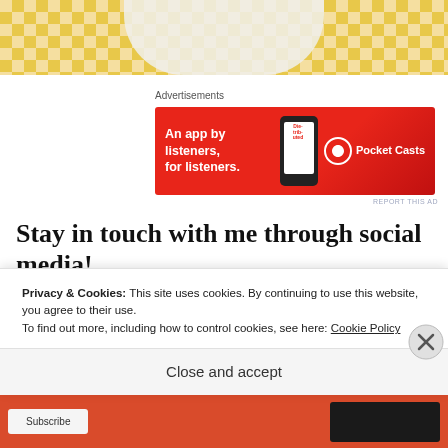[Figure (photo): Top portion of food photo showing a plate with pancakes on a yellow gingham/checkered tablecloth, cropped at the top of the page]
Advertisements
[Figure (other): Pocket Casts advertisement banner with red background showing text 'An app by listeners, for listeners.' with a phone graphic displaying 'Die-trib-uted' and the Pocket Casts logo]
REPORT THIS AD
Stay in touch with me through social media!
Tried this recipe? Snap a picture and tag #vikingheartwithin on Instagram.
Privacy & Cookies: This site uses cookies. By continuing to use this website, you agree to their use.
To find out more, including how to control cookies, see here: Cookie Policy
Close and accept